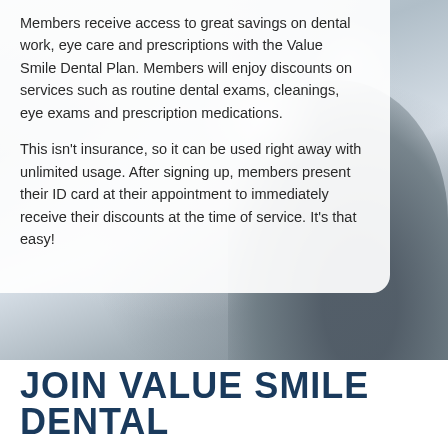[Figure (photo): Blurred background photo of a person at a dental or medical appointment, with light and bokeh effect. A white semi-transparent card overlays the upper-left portion.]
Members receive access to great savings on dental work, eye care and prescriptions with the Value Smile Dental Plan. Members will enjoy discounts on services such as routine dental exams, cleanings, eye exams and prescription medications.
This isn't insurance, so it can be used right away with unlimited usage. After signing up, members present their ID card at their appointment to immediately receive their discounts at the time of service. It's that easy!
JOIN VALUE SMILE DENTAL